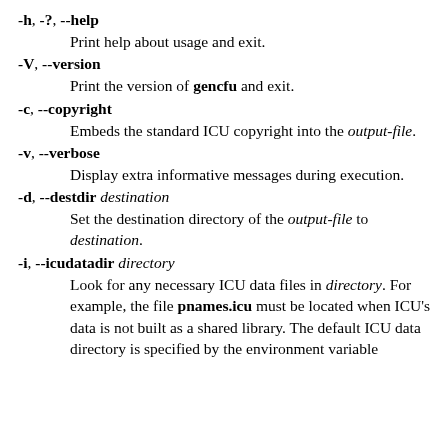-h, -?, --help
    Print help about usage and exit.
-V, --version
    Print the version of gencfu and exit.
-c, --copyright
    Embeds the standard ICU copyright into the output-file.
-v, --verbose
    Display extra informative messages during execution.
-d, --destdir destination
    Set the destination directory of the output-file to destination.
-i, --icudatadir directory
    Look for any necessary ICU data files in directory. For example, the file pnames.icu must be located when ICU's data is not built as a shared library. The default ICU data directory is specified by the environment variable